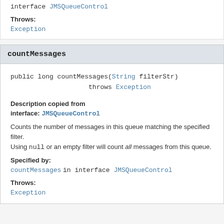interface JMSQueueControl
Throws:
Exception
countMessages
public long countMessages(String filterStr)
                throws Exception
Description copied from interface: JMSQueueControl
Counts the number of messages in this queue matching the specified filter.
Using null or an empty filter will count all messages from this queue.
Specified by:
countMessages in interface JMSQueueControl
Throws:
Exception